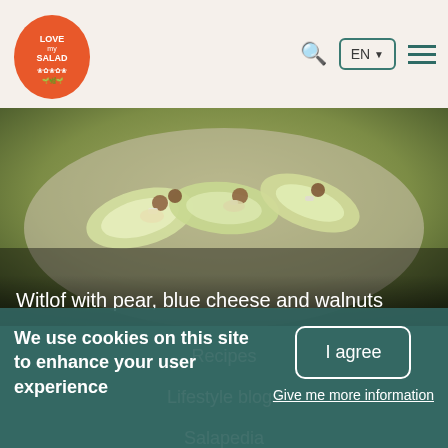[Figure (logo): Love My Salad logo — orange oval with white text and decorative elements]
[Figure (photo): Photo of witlof leaves topped with pear, blue cheese crumbles, and walnuts on a plate]
Witlof with pear, blue cheese and walnuts
Recipes
Lifestyle blogs
Salapedia
Contributors & supporters
Privacy...
We use cookies on this site to enhance your user experience
I agree
Give me more information